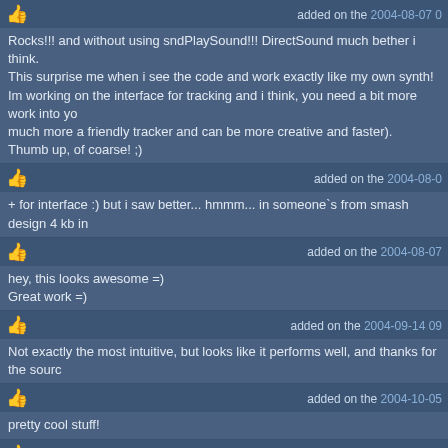added on the 2004-08-07 0...
Rocks!!! and without using sndPlaySound!!! DirectSound much bether i think.
This surprise me when i see the code and work exactly like my own synth!
Im working on the interface for tracking and i think, you need a bit more work into yo... much more a friendly tracker and can be more creative and faster).
Thumb up, of coarse! ;)
added on the 2004-08-0...
+ for interface :) but i saw better... hmmm... in someone`s from smash design 4 kb in...
added on the 2004-08-07
hey, this looks awesome =)
Great work =)
added on the 2004-09-14 09...
Not exactly the most intuitive, but looks like it performs well, and thanks for the sourc...
added on the 2004-10-05...
pretty cool stuff!
added on the 2004-10-05 20:5...
Rox :)
added on the 2005-01-14 0...
this source code has been very helpful! both thumbs up :)
added on the 2005-09-04 23:1...
404
added on the 2005-12-04...
I like this tiny softsynth!
Correct download links, and mainly a simple "controls overview" for beginners...